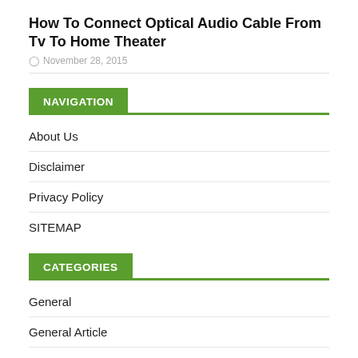How To Connect Optical Audio Cable From Tv To Home Theater
November 28, 2015
NAVIGATION
About Us
Disclaimer
Privacy Policy
SITEMAP
CATEGORIES
General
General Article
Home Improvement